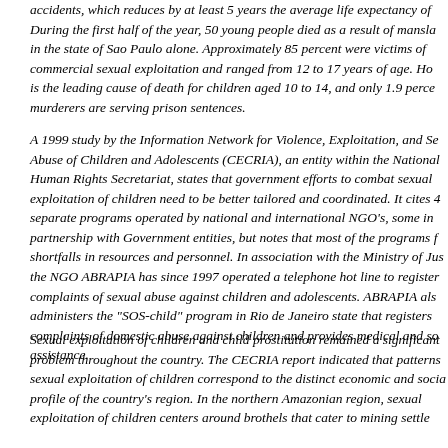accidents, which reduces by at least 5 years the average life expectancy of... During the first half of the year, 50 young people died as a result of manslaughter in the state of Sao Paulo alone. Approximately 85 percent were victims of commercial sexual exploitation and ranged from 12 to 17 years of age. Homicide is the leading cause of death for children aged 10 to 14, and only 1.9 percent of murderers are serving prison sentences.
A 1999 study by the Information Network for Violence, Exploitation, and Sexual Abuse of Children and Adolescents (CECRIA), an entity within the National Human Rights Secretariat, states that government efforts to combat sexual exploitation of children need to be better tailored and coordinated. It cites 40 separate programs operated by national and international NGO's, some in partnership with Government entities, but notes that most of the programs face shortfalls in resources and personnel. In association with the Ministry of Justice, the NGO ABRAPIA has since 1997 operated a telephone hot line to register complaints of sexual abuse against children and adolescents. ABRAPIA also administers the "SOS-child" program in Rio de Janeiro state that registers complaints of domestic abuse against children and provides medical and social assistance.
Sexual exploitation of children and child prostitution remained a significant problem throughout the country. The CECRIA report indicated that patterns of sexual exploitation of children correspond to the distinct economic and social profile of the country's region. In the northern Amazonian region, sexual exploitation of children centers around brothels that cater to mining settlements...